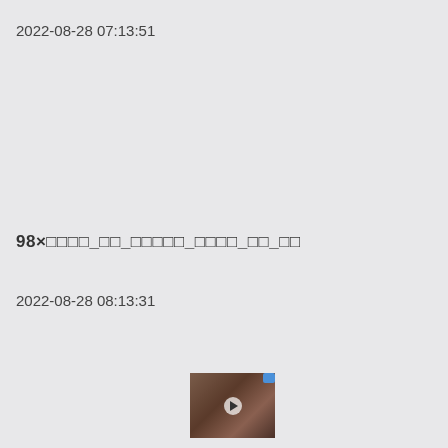2022-08-28 07:13:51
98×□□□□_□□_□□□□□_□□□□_□□_□□
2022-08-28 08:13:31
[Figure (photo): Small thumbnail image of a person's face, partially visible, with a blue indicator dot in top-right corner and a play button overlay]